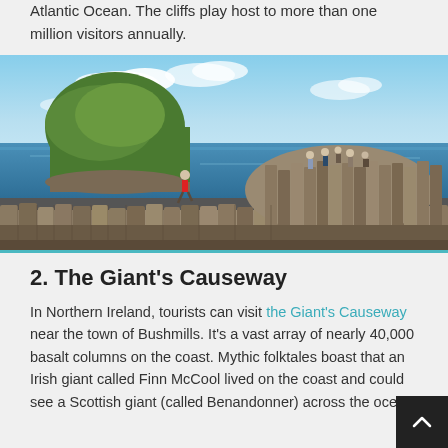Atlantic Ocean. The cliffs play host to more than one million visitors annually.
[Figure (photo): Photo of the Giant's Causeway in Northern Ireland showing hexagonal basalt columns along the coast, with tourists on the rocks, a person in a red jacket jumping, green headland in the background, and blue sky with clouds.]
2. The Giant's Causeway
In Northern Ireland, tourists can visit the Giant's Causeway near the town of Bushmills. It's a vast array of nearly 40,000 basalt columns on the coast. Mythic folktales boast that an Irish giant called Finn McCool lived on the coast and could see a Scottish giant (called Benandonner) across the ocean.